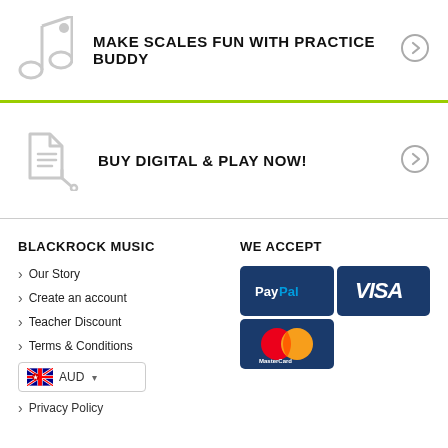MAKE SCALES FUN WITH PRACTICE BUDDY
BUY DIGITAL & PLAY NOW!
BLACKROCK MUSIC
Our Story
Create an account
Teacher Discount
Terms & Conditions
Privacy Policy
WE ACCEPT
[Figure (infographic): Payment logos: PayPal, Visa, MasterCard]